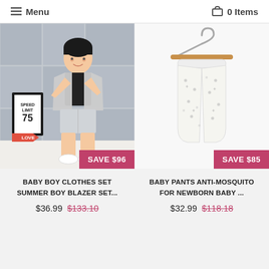☰ Menu   🛒 0 Items
[Figure (photo): Young boy wearing a grey blazer and shorts outfit, posing confidently in front of a grey tiled wall with a 'Speed Limit 75' sign prop and a red arrow sign spelling LOVE. White sneakers on feet.]
SAVE $96
[Figure (photo): White baby pants with small print pattern hanging on a wooden clothes hanger against a white background.]
SAVE $85
BABY BOY CLOTHES SET SUMMER BOY BLAZER SET...
$36.99  $133.10
BABY PANTS ANTI-MOSQUITO FOR NEWBORN BABY ...
$32.99  $118.18